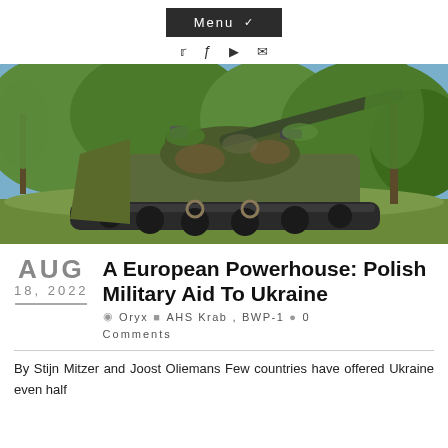Menu
[Figure (photo): A military self-propelled howitzer (AHS Krab) in camouflage paint, positioned in a wooded/brushy outdoor environment with trees and blue sky visible in background.]
A European Powerhouse: Polish Military Aid To Ukraine
Oryx  AHS Krab , BWP-1  0 Comments
By Stijn Mitzer and Joost Oliemans Few countries have offered Ukraine even half